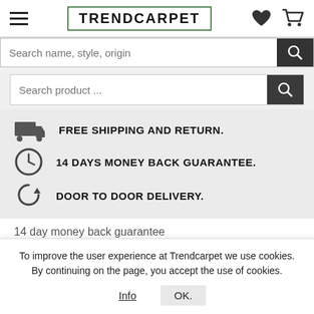TRENDCARPET
Search name, style, origin
Search product ...
FREE SHIPPING AND RETURN.
14 DAYS MONEY BACK GUARANTEE.
DOOR TO DOOR DELIVERY.
14 day money back guarantee
Delivery
Terms and conditions
About us
To improve the user experience at Trendcarpet we use cookies. By continuing on the page, you accept the use of cookies.
Info   OK.